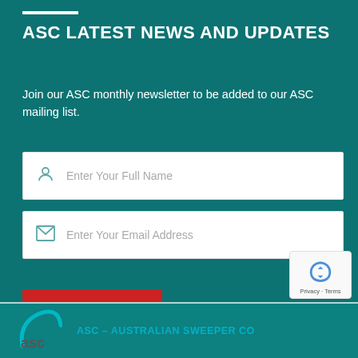ASC LATEST NEWS AND UPDATES
Join our ASC monthly newsletter to be added to our ASC mailing list.
Enter Your Full Name
Enter Your Email Address
SUBSCRIBE
[Figure (logo): ASC - Australian Sweeper Company logo with teal arc swoosh around 'asc' text]
ASC - AUSTRALIAN SWEEPER CO